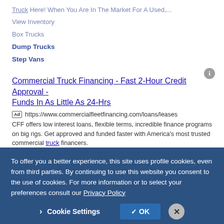Truck Here! When You Are In The Market For A Used,...
View Inventory
Box Trucks
Dump Trucks
Step Vans
Commercial Truck Financing - Fast 2-Hour Credit Approval - Funds In As Little As 24-Hrs
Ad https://www.commercialfleetfinancing.com/loans/leases
CFF offers low interest loans, flexible terms, incredible finance programs on big rigs. Get approved and funded faster with America’s most trusted commercial truck financers.
Tow Trucks Light - Heavy
To offer you a better experience, this site uses profile cookies, even from third parties. By continuing to use this website you consent to the use of cookies. For more information or to select your preferences consult our Privacy Policy